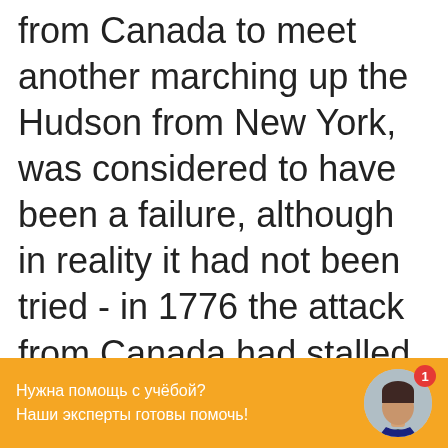from Canada to meet another marching up the Hudson from New York, was considered to have been a failure, although in reality it had not been tried - in 1776 the attack from Canada had stalled and in 1777 there was not attack from New York. Meanwhile,
Нужна помощь с учёбой? Наши эксперты готовы помочь!